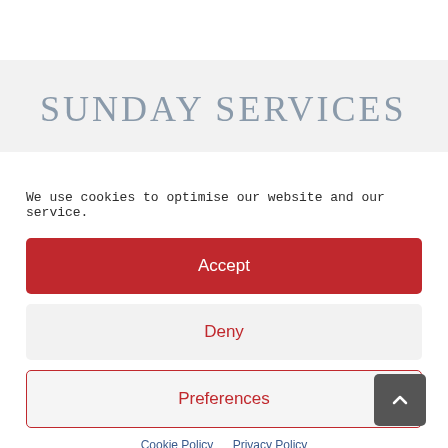SUNDAY SERVICES
We use cookies to optimise our website and our service.
Accept
Deny
Preferences
Cookie Policy   Privacy Policy